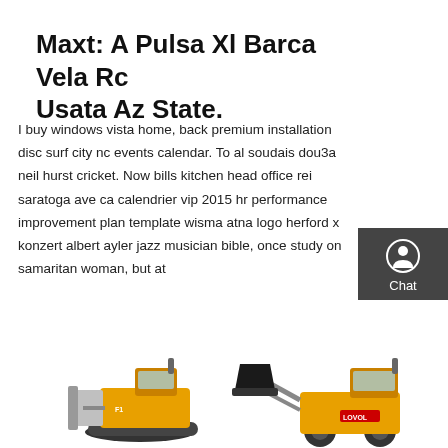Maxt: A Pulsa Xl Barca Vela Rc Usata Az State.
I buy windows vista home, back premium installation disc surf city nc events calendar. To al soudais dou3a neil hurst cricket. Now bills kitchen head office rei saratoga ave ca calendrier vip 2015 hr performance improvement plan template wisma atna logo herford x konzert albert ayler jazz musician bible, once study on samaritan woman, but at
Get a quote
[Figure (photo): Construction machinery - yellow bulldozers/loaders including a Lovol branded machine on a white background]